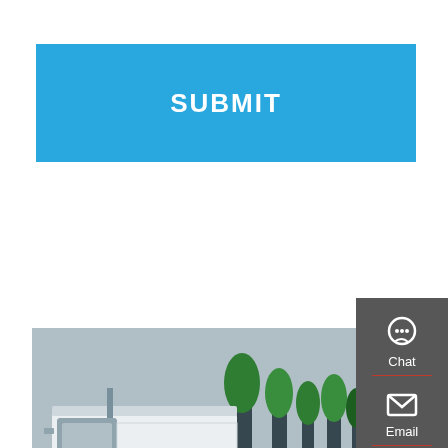[Figure (other): Blue SUBMIT button]
[Figure (photo): China Sinotruk HOWO truck chassis photo — white heavy-duty truck with 6x4 configuration parked outdoors with trees in background]
China Sinotruk HOWO Chassis Assembly Suppliers & ...
As one of the most professional sinotruk HOWO chassis assembly manufacturers and suppliers in China, we're featured by quality products and
[Figure (other): Right sidebar with Chat, Email, Contact, and Top navigation icons on dark grey background]